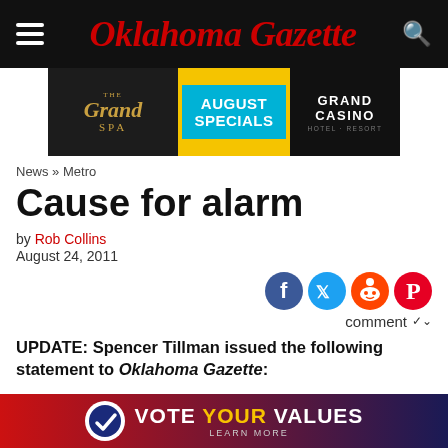Oklahoma Gazette
[Figure (infographic): Grand Spa August Specials Grand Casino Hotel Resort advertisement banner]
News » Metro
Cause for alarm
by Rob Collins
August 24, 2011
[Figure (infographic): Social sharing icons: Facebook, Twitter, Reddit, Pinterest, and comment dropdown]
UPDATE: Spencer Tillman issued the following statement to Oklahoma Gazette:
“I exchanged messages with Austin’s father. I consider the matter over. They’ve lost a son. Please let the
[Figure (infographic): Vote Your Values Learn More advertisement banner at bottom of page]